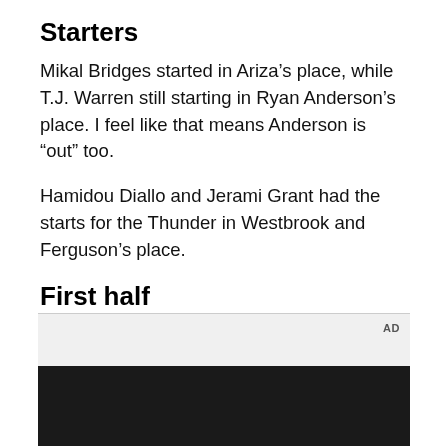Starters
Mikal Bridges started in Ariza’s place, while T.J. Warren still starting in Ryan Anderson’s place. I feel like that means Anderson is “out” too.
Hamidou Diallo and Jerami Grant had the starts for the Thunder in Westbrook and Ferguson’s place.
First half
Suns played a really engaged, strong half against the Thunder, who were just making shots while the Suns were still just struggling to make their own.
[Figure (other): Advertisement placeholder with dark photo background]